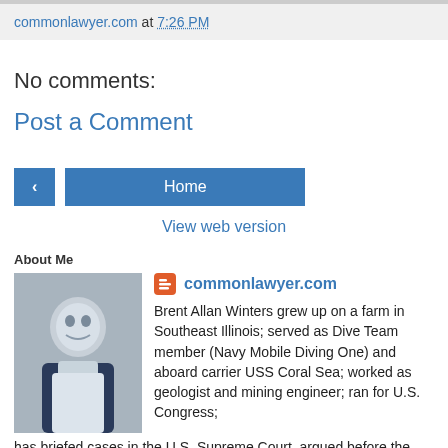commonlawyer.com at 7:26 PM
No comments:
Post a Comment
‹  Home  View web version
About Me
commonlawyer.com
Brent Allan Winters grew up on a farm in Southeast Illinois; served as Dive Team member (Navy Mobile Diving One) and aboard carrier USS Coral Sea; worked as geologist and mining engineer; ran for U.S. Congress; has briefed cases in the U.S. Supreme Court, argued before the Jury and appellate courts (State and federal) in four States,